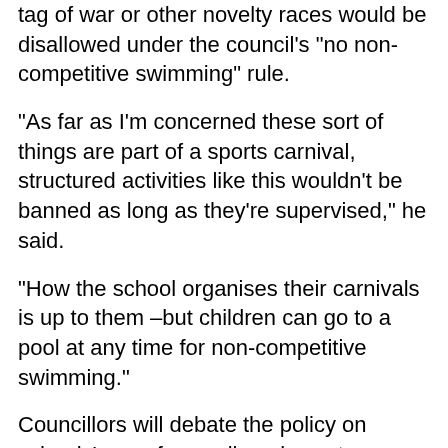tag of war or other novelty races would be disallowed under the council's “no non-competitive swimming” rule.
“As far as I’m concerned these sort of things are part of a sports carnival, structured activities like this wouldn’t be banned as long as they’re supervised,” he said.
“How the school organises their carnivals is up to them –but children can go to a pool at any time for non-competitive swimming.”
Councillors will debate the policy on schools’ use of council pools next Tuesday, January 30.